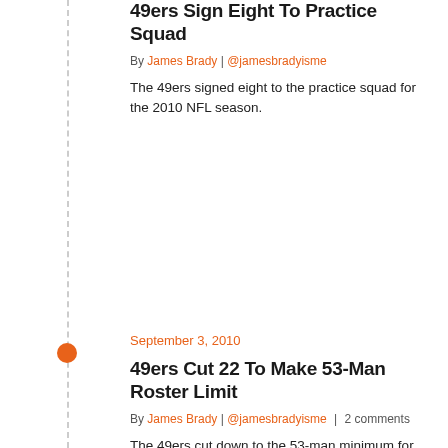49ers Sign Eight To Practice Squad
By James Brady | @jamesbradyisme
The 49ers signed eight to the practice squad for the 2010 NFL season.
September 3, 2010
49ers Cut 22 To Make 53-Man Roster Limit
By James Brady | @jamesbradyisme | 2 comments
The 49ers cut down to the 53-man minimum for their NFL roster cuts.
2 comments